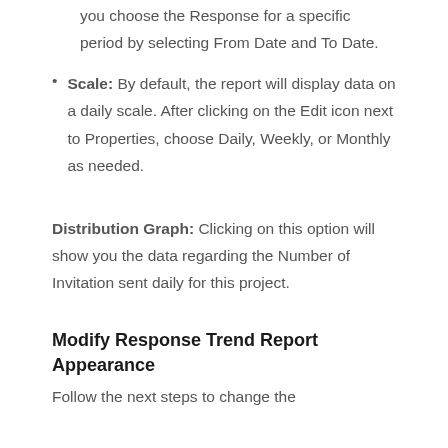you choose the Response for a specific period by selecting From Date and To Date.
Scale: By default, the report will display data on a daily scale. After clicking on the Edit icon next to Properties, choose Daily, Weekly, or Monthly as needed.
Distribution Graph: Clicking on this option will show you the data regarding the Number of Invitation sent daily for this project.
Modify Response Trend Report Appearance
Follow the next steps to change the